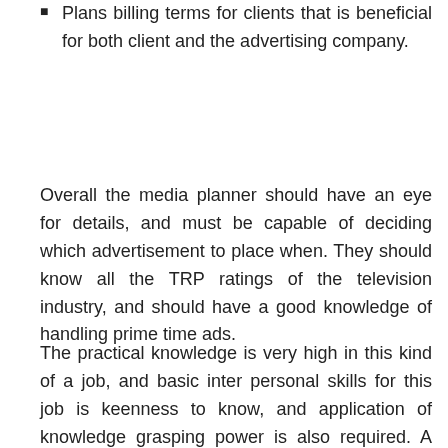Plans billing terms for clients that is beneficial for both client and the advertising company.
Overall the media planner should have an eye for details, and must be capable of deciding which advertisement to place when. They should know all the TRP ratings of the television industry, and should have a good knowledge of handling prime time ads.
The practical knowledge is very high in this kind of a job, and basic inter personal skills for this job is keenness to know, and application of knowledge grasping power is also required. A person who has all these